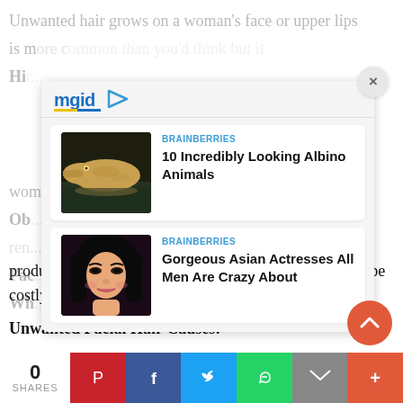Unwanted hair grows on a woman's face or upper lips is m...
Hi... d ma... Du...
women suffer from this kind of unexpected problem.
[Figure (screenshot): MGID ad overlay with two cards: 1) BRAINBERRIES - 10 Incredibly Looking Albino Animals (albino alligator image), 2) BRAINBERRIES - Gorgeous Asian Actresses All Men Are Crazy About (woman photo)]
Ob... ir ren... Fac... ise. Wh...
products for facial hair removal, these alternatives may be costly and may not work for all time.
Unwanted Facial Hair Causes:
0 SHARES
Pinterest Facebook Twitter WhatsApp Email More